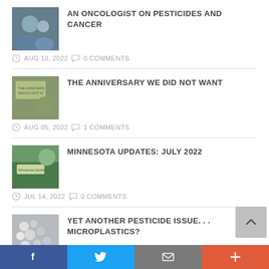AN ONCOLOGIST ON PESTICIDES AND CANCER | AUG 10, 2022 | 0 COMMENTS
THE ANNIVERSARY WE DID NOT WANT | AUG 05, 2022 | 1 COMMENTS
MINNESOTA UPDATES: JULY 2022 | JUL 14, 2022 | 0 COMMENTS
YET ANOTHER PESTICIDE ISSUE. . . MICROPLASTICS? | JUN 30, 2022 | 0 COMMENTS
Facebook | Twitter | Email | +